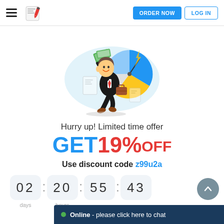[Figure (illustration): Website header with hamburger menu, logo icon, ORDER NOW blue button, and LOG IN outlined button]
[Figure (illustration): Cartoon businessman running with money in hand, briefcase, and a pie chart in the background on a light blue splash]
Hurry up! Limited time offer
GET 19% OFF
Use discount code z99u2a
02 : 20 : 55 : 43
days   hours
Online - please click here to chat